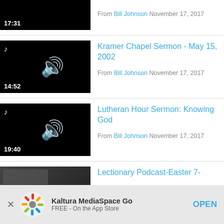From Bill Johnson November 17, 2017
Kramer Chapel Sermon - May 15, 2002
From Bill Johnson November 17, 2017
Lutheran Hour Sermon: Knowing God
From Bill Johnson November 17, 2017
Lectionary Podcast-Easter 7-
Kaltura MediaSpace Go FREE - On the App Store OPEN